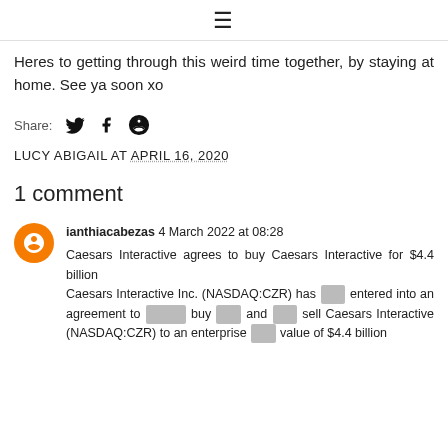≡
Heres to getting through this weird time together, by staying at home. See ya soon xo
Share: [twitter] [facebook] [pinterest]
LUCY ABIGAIL AT APRIL 16, 2020
1 comment
ianthiacabezas 4 March 2022 at 08:28
Caesars Interactive agrees to buy Caesars Interactive for $4.4 billion
Caesars Interactive Inc. (NASDAQ:CZR) has [redacted] entered into an agreement to [redacted] buy [redacted] and [redacted] sell Caesars Interactive (NASDAQ:CZR) to an enterprise [redacted] value of $4.4 billion